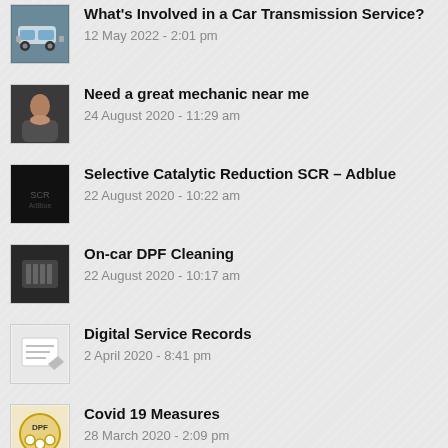What's Involved in a Car Transmission Service?
12 May 2022 - 2:01 pm
Need a great mechanic near me
24 August 2020 - 11:29 am
Selective Catalytic Reduction SCR – Adblue
22 August 2020 - 10:22 am
On-car DPF Cleaning
22 August 2020 - 10:17 am
Digital Service Records
2 April 2020 - 8:41 pm
Covid 19 Measures
28 March 2020 - 2:09 pm
Advanced Driver Assist Systems – ADAS
20 January 2020 - 10:07 am